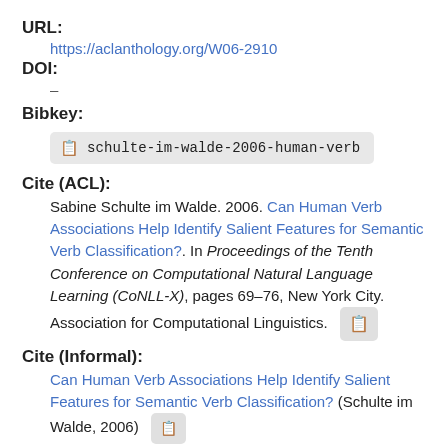URL:
https://aclanthology.org/W06-2910
DOI:
–
Bibkey:
schulte-im-walde-2006-human-verb
Cite (ACL):
Sabine Schulte im Walde. 2006. Can Human Verb Associations Help Identify Salient Features for Semantic Verb Classification?. In Proceedings of the Tenth Conference on Computational Natural Language Learning (CoNLL-X), pages 69–76, New York City. Association for Computational Linguistics.
Cite (Informal):
Can Human Verb Associations Help Identify Salient Features for Semantic Verb Classification? (Schulte im Walde, 2006)